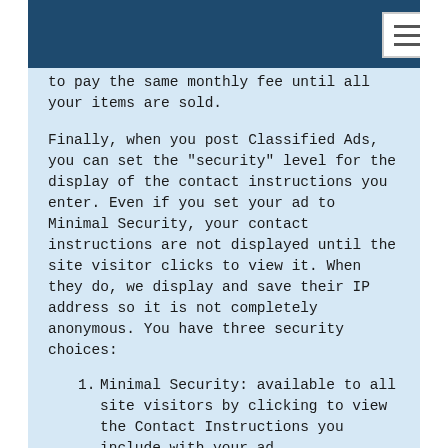to pay the same monthly fee until all your items are sold.
Finally, when you post Classified Ads, you can set the "security" level for the display of the contact instructions you enter. Even if you set your ad to Minimal Security, your contact instructions are not displayed until the site visitor clicks to view it. When they do, we display and save their IP address so it is not completely anonymous. You have three security choices:
1. Minimal Security: available to all site visitors by clicking to view the Contact Instructions you include with your ad
2. Validated Security: only viewable by Signed In members of CitySpokes